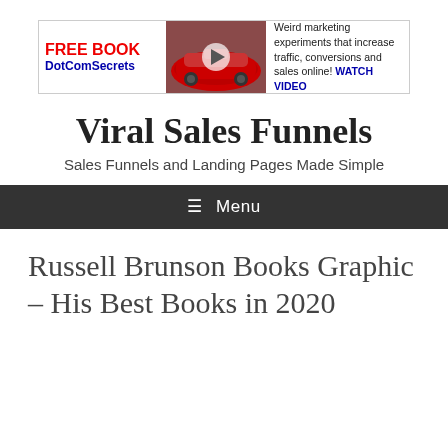[Figure (infographic): Advertisement banner for Free Book DotComSecrets: left section shows 'FREE BOOK DotComSecrets' in red and blue bold text, middle section shows a red sports car with a play button overlay, right section shows text 'Weird marketing experiments that increase traffic, conversions and sales online! WATCH VIDEO']
Viral Sales Funnels
Sales Funnels and Landing Pages Made Simple
≡ Menu
Russell Brunson Books Graphic – His Best Books in 2020